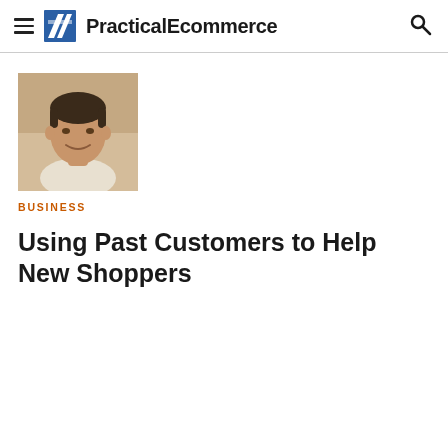PracticalEcommerce
[Figure (photo): Headshot of a man smiling, wearing a light-colored shirt, dark short hair]
BUSINESS
Using Past Customers to Help New Shoppers